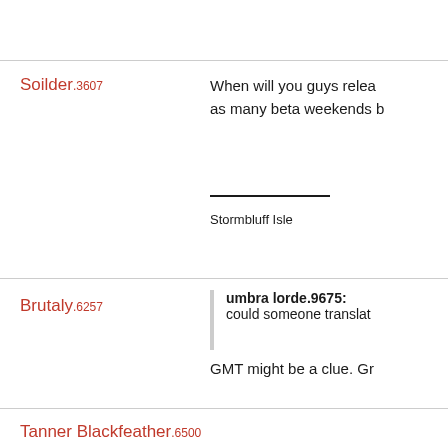Soilder.3607
When will you guys relea as many beta weekends b
Stormbluff Isle
Brutaly.6257
umbra lorde.9675: could someone translat GMT might be a clue. Gr
Tanner Blackfeather.6500